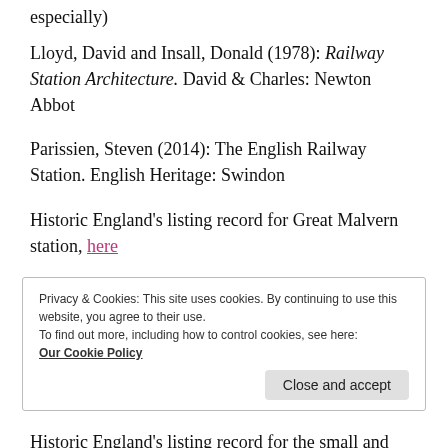especially)
Lloyd, David and Insall, Donald (1978): Railway Station Architecture. David & Charles: Newton Abbot
Parissien, Steven (2014): The English Railway Station. English Heritage: Swindon
Historic England's listing record for Great Malvern station, here
Privacy & Cookies: This site uses cookies. By continuing to use this website, you agree to their use.
To find out more, including how to control cookies, see here:
Our Cookie Policy
Close and accept
Historic England's listing record for the small and